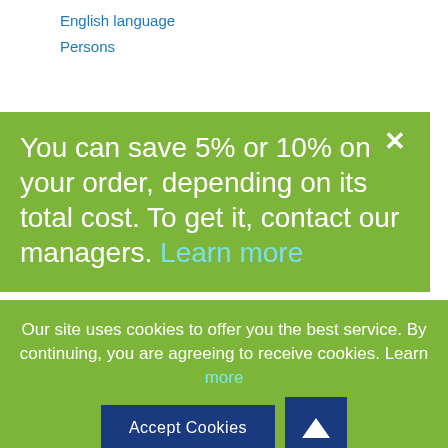English language
Persons
You can save 5% or 10% on your order, depending on its total cost. To get it, contact our managers. Learn more
Essay Topics
Health insurance
Video
Our site uses cookies to offer you the best service. By continuing, you are agreeing to receive cookies. Learn more